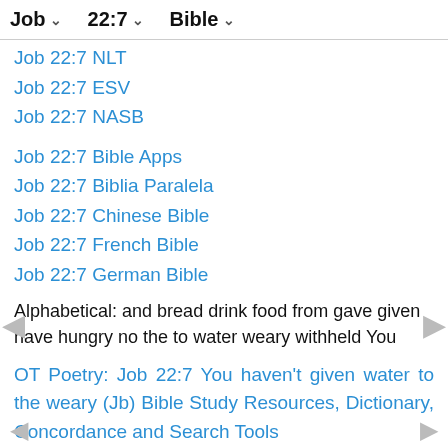Job  22:7  Bible
Job 22:7 NLT
Job 22:7 ESV
Job 22:7 NASB
Job 22:7 Bible Apps
Job 22:7 Biblia Paralela
Job 22:7 Chinese Bible
Job 22:7 French Bible
Job 22:7 German Bible
Alphabetical: and bread drink food from gave given have hungry no the to water weary withheld You
OT Poetry: Job 22:7 You haven't given water to the weary (Jb) Bible Study Resources, Dictionary, Concordance and Search Tools
Catholic Bible